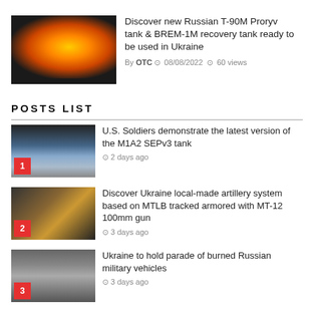[Figure (photo): Thumbnail image of a tank firing with large explosion/fireball]
Discover new Russian T-90M Proryv tank & BREM-1M recovery tank ready to be used in Ukraine
By OTC  08/08/2022  60 views
POSTS LIST
[Figure (photo): Thumbnail of military vehicle with dust cloud, numbered 1]
U.S. Soldiers demonstrate the latest version of the M1A2 SEPv3 tank
2 days ago
[Figure (photo): Thumbnail of armored vehicle at sunset, numbered 2]
Discover Ukraine local-made artillery system based on MTLB tracked armored with MT-12 100mm gun
3 days ago
[Figure (photo): Thumbnail of military vehicles on road, numbered 3]
Ukraine to hold parade of burned Russian military vehicles
3 days ago